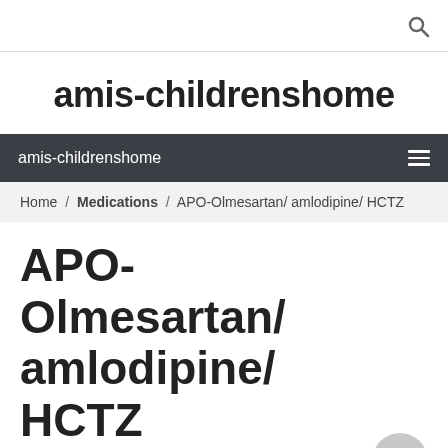amis-childrenshome
amis-childrenshome
Home / Medications / APO-Olmesartan/ amlodipine/ HCTZ
APO-Olmesartan/ amlodipine/ HCTZ
Posted on 01/31/2021